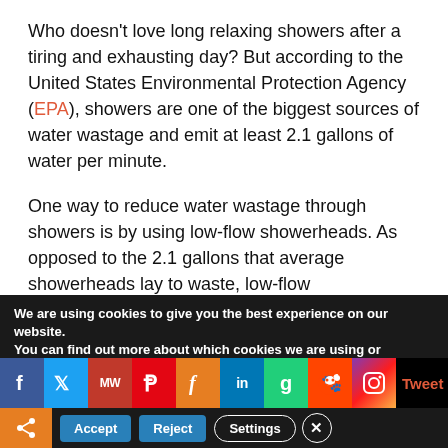Who doesn't love long relaxing showers after a tiring and exhausting day? But according to the United States Environmental Protection Agency (EPA), showers are one of the biggest sources of water wastage and emit at least 2.1 gallons of water per minute.
One way to reduce water wastage through showers is by using low-flow showerheads. As opposed to the 2.1 gallons that average showerheads lay to waste, low-flow showerheads emit 1.8 gallons of water per minute and reduce water wastage significantly. Another way to
We are using cookies to give you the best experience on our website.
You can find out more about which cookies we are using or
[Figure (screenshot): Social media sharing bar with icons for Facebook, Twitter, MeWe, Parler, another icon, LinkedIn, Gab, Reddit, Instagram, and a Tweet label in orange-red]
[Figure (screenshot): Cookie consent buttons bar with share icon, Accept (blue), Reject (blue), Settings (outlined), and close X button]